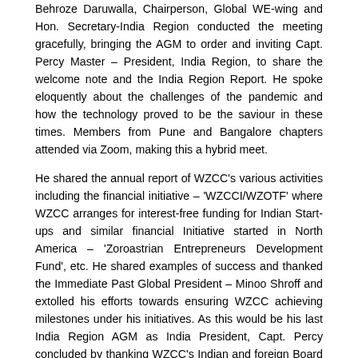Behroze Daruwalla, Chairperson, Global WE-wing and Hon. Secretary-India Region conducted the meeting gracefully, bringing the AGM to order and inviting Capt. Percy Master – President, India Region, to share the welcome note and the India Region Report. He spoke eloquently about the challenges of the pandemic and how the technology proved to be the saviour in these times. Members from Pune and Bangalore chapters attended via Zoom, making this a hybrid meet.
He shared the annual report of WZCC's various activities including the financial initiative – 'WZCCI/WZOTF' where WZCC arranges for interest-free funding for Indian Start-ups and similar financial Initiative started in North America – 'Zoroastrian Entrepreneurs Development Fund', etc. He shared examples of success and thanked the Immediate Past Global President – Minoo Shroff and extolled his efforts towards ensuring WZCC achieving milestones under his initiatives. As this would be his last India Region AGM as India President, Capt. Percy concluded by thanking WZCC's Indian and foreign Board Members for their support.
Chapter Chairs of Mumbai – Tehemton Dalal and Pune – Tehmasp Bharucha, presented detailed activities of their